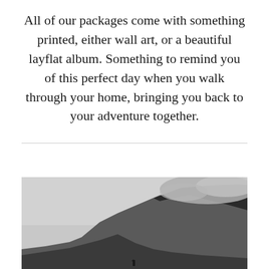All of our packages come with something printed, either wall art, or a beautiful layflat album. Something to remind you of this perfect day when you walk through your home, bringing you back to your adventure together.
[Figure (photo): Black and white landscape photograph showing dramatic mountain cliffs with clouds/mist at the top, and a small silhouette of a person visible at the bottom center of the frame.]